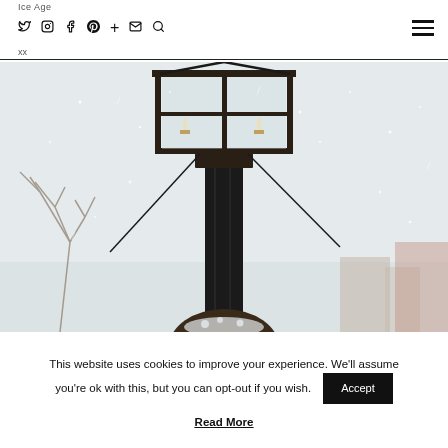Ice Age   xx
[Figure (photo): Close-up photo of a decorative black iron street lamp post in winter, with snow falling. A person with snow-dusted hair is visible at the bottom of the frame. Bare trees and buildings visible in the background against a white snowy sky.]
This website uses cookies to improve your experience. We'll assume you're ok with this, but you can opt-out if you wish.
Accept
Read More